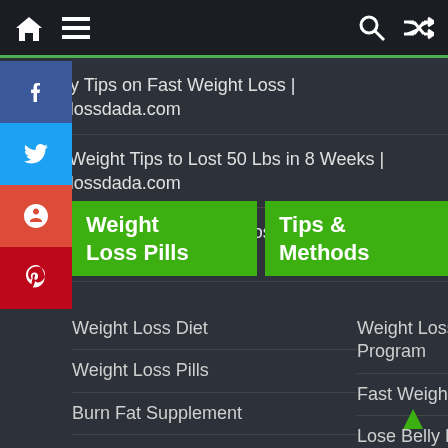[Figure (screenshot): Website navigation bar with home icon, hamburger menu, search icon, and shuffle icon on dark background]
10 Easy Tips on Fast Weight Loss | Weightlossdada.com
4 Fast Weight Tips to Lost 50 Lbs in 8 Weeks | Weightlossdada.com
...ps for Rapid Weight Loss | Weightlossdada.com
Weight Loss Pills
Tips & Methods
Advertisement
Weight Loss Diet
Weight Loss Pills
Burn Fat Supplement
Weight Loss Recipes
Weight Loss Program
Fast Weight Loss
Lose Belly Fat
Weight Loss Tips
Weight Loss